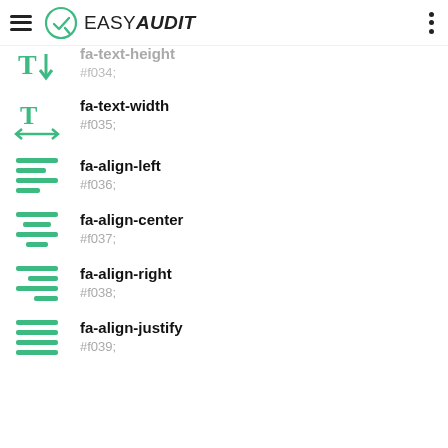EASY AUDIT
fa-text-height
#f034;
fa-text-width
#f035;
fa-align-left
#f036;
fa-align-center
#f037;
fa-align-right
#f038;
fa-align-justify
#f039;